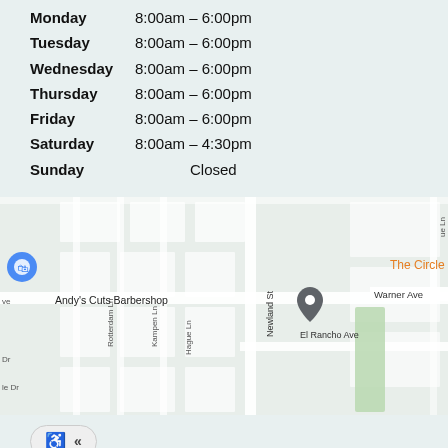Monday   8:00am – 6:00pm
Tuesday  8:00am – 6:00pm
Wednesday  8:00am – 6:00pm
Thursday  8:00am – 6:00pm
Friday  8:00am – 6:00pm
Saturday  8:00am – 4:30pm
Sunday  Closed
[Figure (map): Google Maps embed showing location near Warner Ave and Newland St in Huntington Beach, CA. Pin marker visible near Andy's Cuts Barbershop. Street labels include Warner Ave, El Rancho Ave, Rotterdam Ln, Kampen Ln, Hague Ln, Newland St. Labels 'The Circle OC' in orange and 'Skat' in green visible.]
Contact  About  Privacy  Sitemap